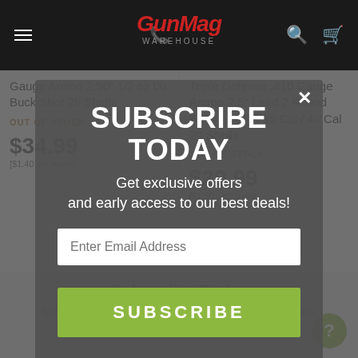[Figure (screenshot): GunMag Warehouse website navigation bar with logo, hamburger menu, phone icon, search icon, and cart icon on dark background]
Gauge Ammo 2.50" 1/2 oz 00 Buck Shot 25 Shells
OUT OF STOCK
$34.99
[$1.40 per round]
Triple Defense .410 Gauge Ammo 2.5" Lead 2 Round Balls / 1 Slug 35 Cal / 41 Cal 20 Shells
OUT OF STOCK
$29.99
[$1.50 per round]
SUBSCRIBE TODAY
Get exclusive offers
and early access to our best deals!
Enter Email Address
SUBSCRIBE
Subscribe Today
Get exclusive offers and early access to our best deals!